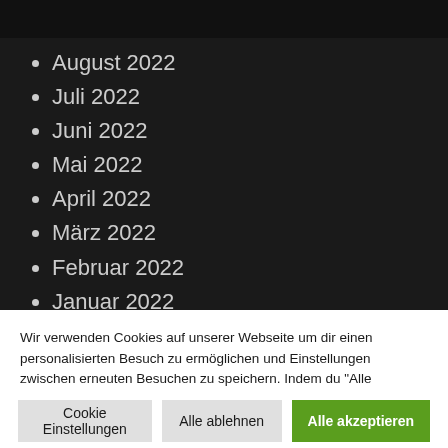August 2022
Juli 2022
Juni 2022
Mai 2022
April 2022
März 2022
Februar 2022
Januar 2022
Dezember 2021
Oktober 2021
Wir verwenden Cookies auf unserer Webseite um dir einen personalisierten Besuch zu ermöglichen und Einstellungen zwischen erneuten Besuchen zu speichern. Indem du "Alle akzeptieren" anklickst, bist du einverstanden mit allen Cookies. Du kannst auch auf "Cookie Einstellungen" klicken um eine Auswahl zu treffen.
Cookie Einstellungen | Alle ablehnen | Alle akzeptieren